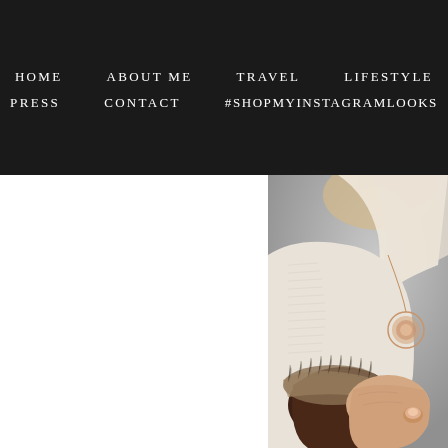HOME   ABOUT ME   TRAVEL   LIFESTYLE   PRESS   CONTACT   #SHOPMYINSTAGRAMLOOKS
[Figure (photo): Close-up fashion photo of a woman wearing a white knit sweater with a scarf, holding brown leather fur-trimmed gloves, wearing a rose gold ornate necklace and ring. Blurred gray background.]